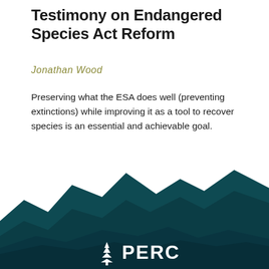Testimony on Endangered Species Act Reform
Jonathan Wood
Preserving what the ESA does well (preventing extinctions) while improving it as a tool to recover species is an essential and achievable goal.
[Figure (illustration): Dark teal geometric mountain landscape illustration in the lower half of the page, with angular faceted polygonal mountain shapes. A white PERC logo (pine tree icon and PERC text) is centered at the bottom.]